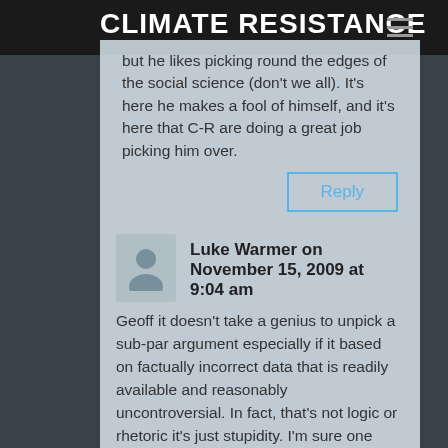CLIMATE RESISTANCE
but he likes picking round the edges of the social science (don't we all). It's here he makes a fool of himself, and it's here that C-R are doing a great job picking him over.
Reply
Luke Warmer on November 15, 2009 at 9:04 am
Geoff it doesn't take a genius to unpick a sub-par argument especially if it based on factually incorrect data that is readily available and reasonably uncontroversial. In fact, that's not logic or rhetoric it's just stupidity. I'm sure one day google will be able to unpick those kind of arguments automatically or at least some future wikip-google. So where Monbiot is